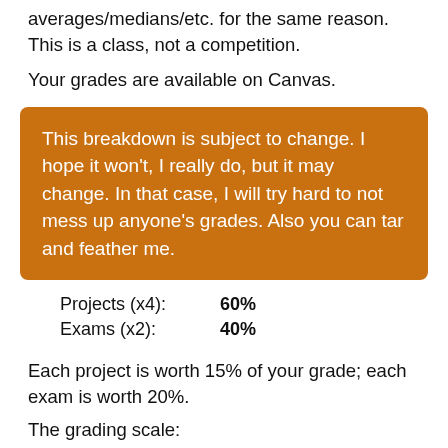averages/medians/etc. for the same reason. This is a class, not a competition.
Your grades are available on Canvas.
This breakdown is subject to change. I hope it won't, I really do, but it may change. In that case, I will try hard to not mess up anyone's grades. Also you can tar and feather me.
Projects (x4):    60%
Exams (x2):       40%
Each project is worth 15% of your grade; each exam is worth 20%.
The grading scale:
90-100%: A   80-90%: B   70%: ...